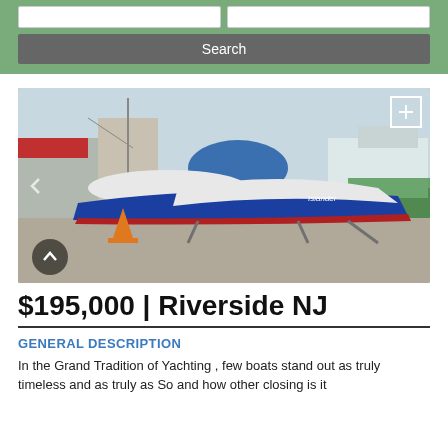Search
[Figure (photo): A blue classic wooden boat on stands in a boatyard, with other boats and a green fence visible in the background]
$195,000 | Riverside NJ
GENERAL DESCRIPTION
In the Grand Tradition of Yachting , few boats stand out as truly timeless and as truly as So and how other closing is it